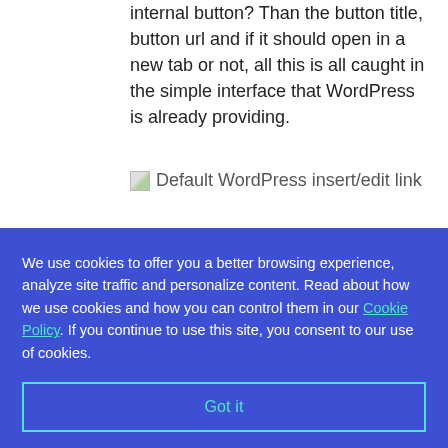internal button? Than the button title, button url and if it should open in a new tab or not, all this is all caught in the simple interface that WordPress is already providing.
[Figure (screenshot): Broken image placeholder with alt text: Default WordPress insert/edit link]
We use cookies to offer you a better browsing experience, analyze site traffic and personalize content. Read about how we use cookies and how you can control them in our Cookie Policy. If you continue to use this site, you consent to our use of cookies.
Got it